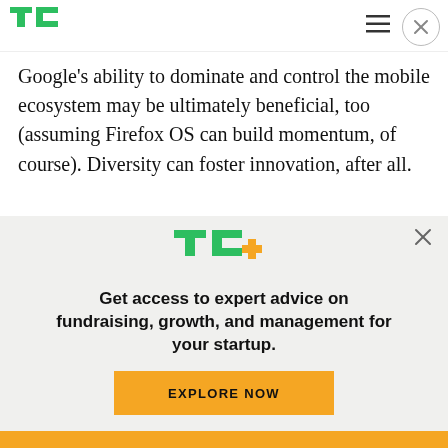TechCrunch logo and navigation
Google’s ability to dominate and control the mobile ecosystem may be ultimately beneficial, too (assuming Firefox OS can build momentum, of course). Diversity can foster innovation, after all.
But it’s not all good. Mozilla is not universally liked in the open-source space. Quite the opposite. The
[Figure (logo): TechCrunch TC+ logo with green TC letters and yellow plus sign]
Get access to expert advice on fundraising, growth, and management for your startup.
EXPLORE NOW